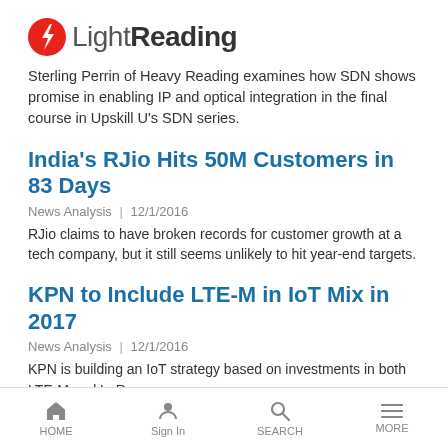[Figure (logo): LightReading logo with red lightning bolt icon]
Sterling Perrin of Heavy Reading examines how SDN shows promise in enabling IP and optical integration in the final course in Upskill U's SDN series.
India's RJio Hits 50M Customers in 83 Days
News Analysis | 12/1/2016
RJio claims to have broken records for customer growth at a tech company, but it still seems unlikely to hit year-end targets.
KPN to Include LTE-M in IoT Mix in 2017
News Analysis | 12/1/2016
KPN is building an IoT strategy based on investments in both LTE-M and LoRa.
Charter Planning Enterprise Push, Rebranding
News Analysis | 12/1/2016
HOME | Sign In | SEARCH | MORE